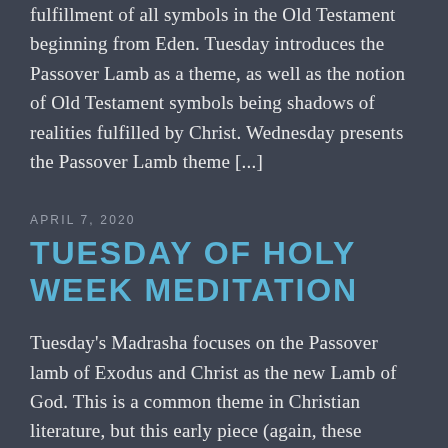fulfillment of all symbols in the Old Testament beginning from Eden. Tuesday introduces the Passover Lamb as a theme, as well as the notion of Old Testament symbols being shadows of realities fulfilled by Christ. Wednesday presents the Passover Lamb theme [...]
APRIL 7, 2020
TUESDAY OF HOLY WEEK MEDITATION
Tuesday's Madrasha focuses on the Passover lamb of Exodus and Christ as the new Lamb of God. This is a common theme in Christian literature, but this early piece (again, these